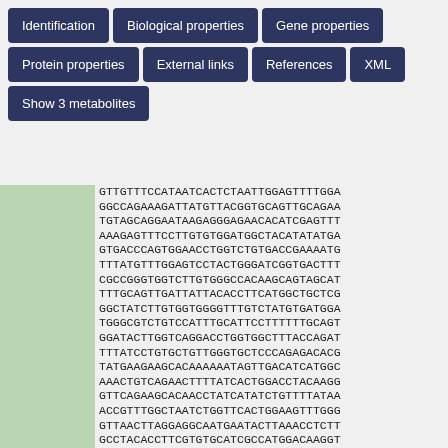[Figure (screenshot): Navigation tab bar with buttons: Identification, Biological properties, Gene properties, Protein properties, External links, References, XML, Show 3 metabolites]
GTTGTTTCCATAATCACTCTAATTGGAGTTTTGGA
GGCCAGAAAGATTATGTTACGGTGCAGTTGCAGAA
TGTAGCAGGAATAAGAGGGAGAACACATC GAGTTT
AAAGAGTTTCCTTGTGTGGATGGCTACATATATGA
GTGACCCAGTGGAACCTGGTCTGTGACCGAAAATG
TTTATGTTTGGAGTCCTACTGGGATCGGTGACTTT
CGCCGGGTGGTCTTGTGGGCCACAGCAGTAGCAT
TTTGCAGTTGATTATTACACCTTCATGGCTGCTCG
GGCTATCTTGTGGTGGGGTTTGTCTATGTGATGGA
TGGGCGTCTGTCCATTTGCATTCCTTTTTTGCAGT
GGATACTTGGTCAGGACCTGGTGGCTTTACCAGAT
TTTATCCTGTGCTGTTGGGTGCTCCCAGAGACACG
TATGAAGAAGCACAAAAAAAATAGTTGACATCATGGC
AAACTGTCAGAACTTTTATCACTGGACCTACAAGG
GTTCAGAAGCACAACCTATCATATCTGTTTTATAA
ACCGTTTGGCTAATCTGGTTCACTGGAAGTTTGGG
GTTAACTTAGGAGGCAATGAATACTTAAACCTCTT
GCCTACACCTTCGTGTGCATCGCCATGGACAAGGT
TCTCTTTTCTGCAGTGCACTGGCCTGTGGTGTCGT